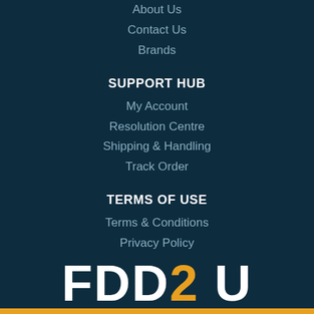About Us
Contact Us
Brands
SUPPORT HUB
My Account
Resolution Centre
Shipping & Handling
Track Order
TERMS OF USE
Terms & Conditions
Privacy Policy
Return Policy
Payment Policy
[Figure (logo): FDD2U logo with white text for FDD and U, orange/amber color for 2, with an orange bar beneath]